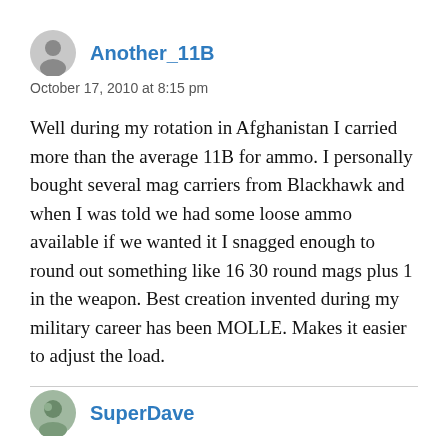Another_11B
October 17, 2010 at 8:15 pm
Well during my rotation in Afghanistan I carried more than the average 11B for ammo. I personally bought several mag carriers from Blackhawk and when I was told we had some loose ammo available if we wanted it I snagged enough to round out something like 16 30 round mags plus 1 in the weapon. Best creation invented during my military career has been MOLLE. Makes it easier to adjust the load.
SuperDave